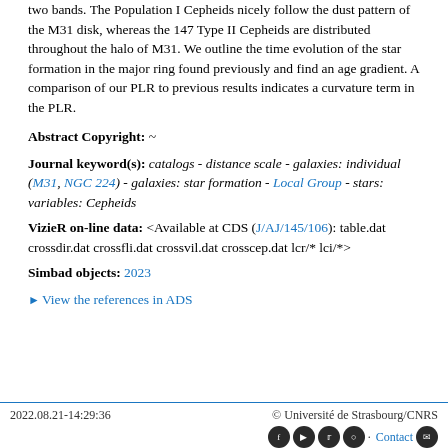two bands. The Population I Cepheids nicely follow the dust pattern of the M31 disk, whereas the 147 Type II Cepheids are distributed throughout the halo of M31. We outline the time evolution of the star formation in the major ring found previously and find an age gradient. A comparison of our PLR to previous results indicates a curvature term in the PLR.
Abstract Copyright: ~
Journal keyword(s): catalogs - distance scale - galaxies: individual (M31, NGC 224) - galaxies: star formation - Local Group - stars: variables: Cepheids
VizieR on-line data: <Available at CDS (J/AJ/145/106): table.dat crossdir.dat crossfli.dat crossvil.dat crosscep.dat lcr/* lci/*>
Simbad objects: 2023
View the references in ADS
2022.08.21-14:29:36   © Université de Strasbourg/CNRS   Contact